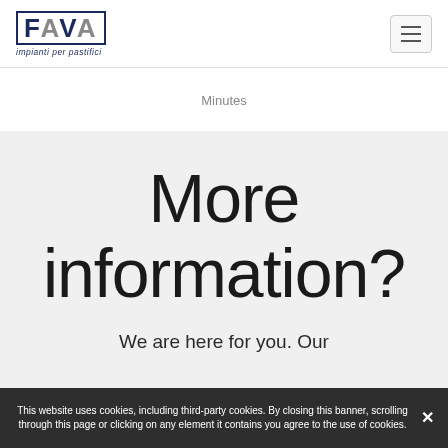[Figure (logo): FAVA logo with text 'impianti per pastifici' beneath it, navy blue color with border]
Minutes
More information?
We are here for you. Our
This website uses cookies, including third-party cookies. By closing this banner, scrolling through this page or clicking on any element it contains you agree to the use of cookies.